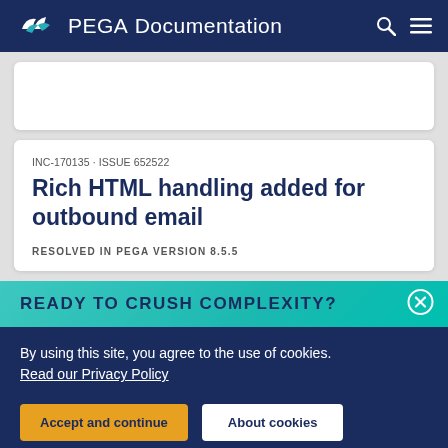PEGA Documentation
INC-170135 · ISSUE 652522
Rich HTML handling added for outbound email
RESOLVED IN PEGA VERSION 8.5.5
READY TO CRUSH COMPLEXITY?
By using this site, you agree to the use of cookies. Read our Privacy Policy
Accept and continue
About cookies